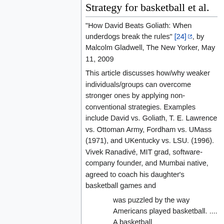Strategy for basketball et al.
"How David Beats Goliath: When underdogs break the rules" [24], by Malcolm Gladwell, The New Yorker, May 11, 2009
This article discusses how/why weaker individuals/groups can overcome stronger ones by applying non-conventional strategies. Examples include David vs. Goliath, T. E. Lawrence vs. Ottoman Army, Fordham vs. UMass (1971), and UKentucky vs. LSU. (1996). Vivek Ranadivé, MIT grad, software-company founder, and Mumbai native, agreed to coach his daughter's basketball games and
was puzzled by the way Americans played basketball. .... A basketball